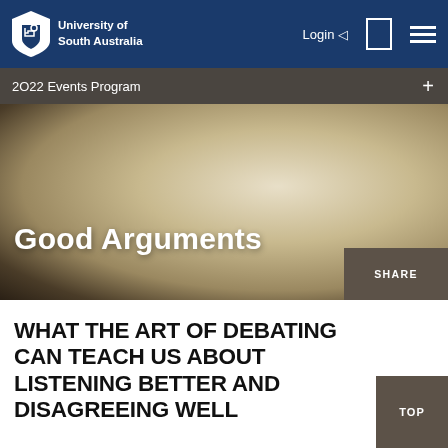University of South Australia
2O22 Events Program
Good Arguments
SHARE
WHAT THE ART OF DEBATING CAN TEACH US ABOUT LISTENING BETTER AND DISAGREEING WELL
TOP